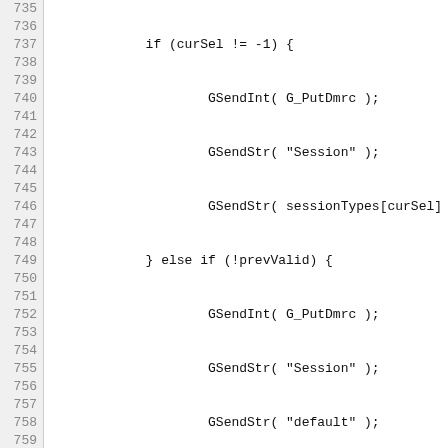Code listing lines 735–764 showing C++ source code with functions KGreeter::verifyFailed() and KGreeter::verifySetUser() and KStdGreeter::KStdGreeter()